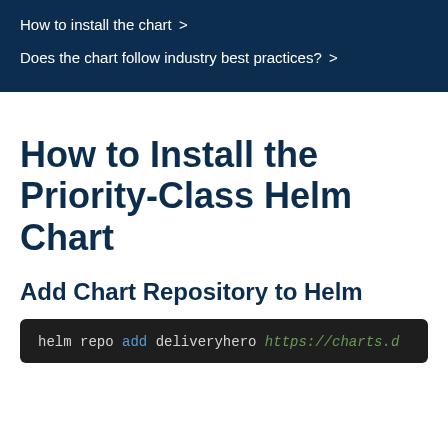How to install the chart >
Does the chart follow industry best practices? >
How to Install the Priority-Class Helm Chart
Add Chart Repository to Helm
helm repo add deliveryhero https://charts.d